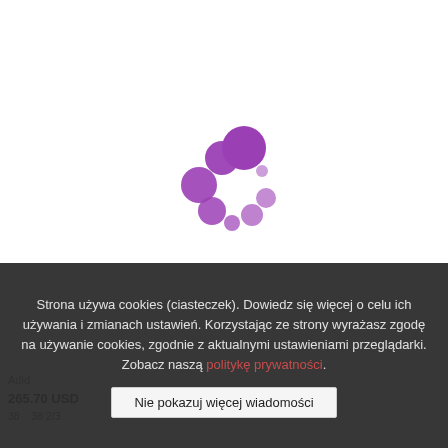[Figure (other): Purple loading spinner animation — circular arrangement of dots of varying sizes in purple/violet color on white background]
Adid... 265.70 USD
38    38 2/3...
Strona używa cookies (ciasteczek). Dowiedz się więcej o celu ich używania i zmianach ustawień. Korzystając ze strony wyrażasz zgodę na używanie cookies, zgodnie z aktualnymi ustawieniami przeglądarki. Zobacz naszą politykę prywatności.
Nie pokazuj więcej wiadomości